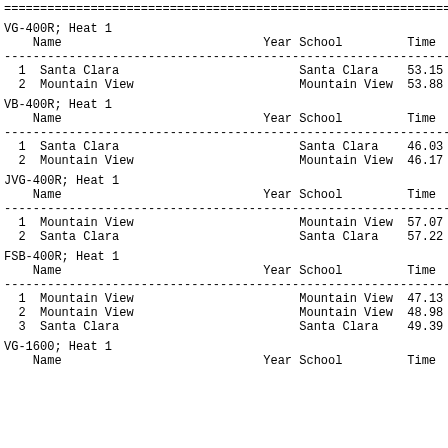================================================================================
VG-400R; Heat 1
|  | Name | Year | School | Time |
| --- | --- | --- | --- | --- |
| 1 | Santa Clara |  | Santa Clara | 53.15 |
| 2 | Mountain View |  | Mountain View | 53.88 |
VB-400R; Heat 1
|  | Name | Year | School | Time |
| --- | --- | --- | --- | --- |
| 1 | Santa Clara |  | Santa Clara | 46.03 |
| 2 | Mountain View |  | Mountain View | 46.17 |
JVG-400R; Heat 1
|  | Name | Year | School | Time |
| --- | --- | --- | --- | --- |
| 1 | Mountain View |  | Mountain View | 57.07 |
| 2 | Santa Clara |  | Santa Clara | 57.22 |
FSB-400R; Heat 1
|  | Name | Year | School | Time |
| --- | --- | --- | --- | --- |
| 1 | Mountain View |  | Mountain View | 47.13 |
| 2 | Mountain View |  | Mountain View | 48.98 |
| 3 | Santa Clara |  | Santa Clara | 49.39 |
VG-1600; Heat 1
|  | Name | Year | School | Time |
| --- | --- | --- | --- | --- |